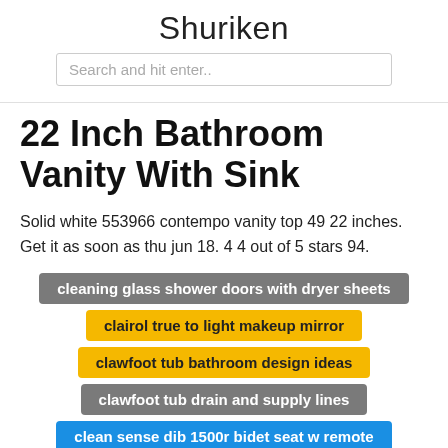Shuriken
Search and hit enter..
22 Inch Bathroom Vanity With Sink
Solid white 553966 contempo vanity top 49 22 inches. Get it as soon as thu jun 18. 4 4 out of 5 stars 94.
cleaning glass shower doors with dryer sheets
clairol true to light makeup mirror
clawfoot tub bathroom design ideas
clawfoot tub drain and supply lines
clean sense dib 1500r bidet seat w remote
cheap oil rubbed bronze bathroom faucets
cheap sliding glass shower doors